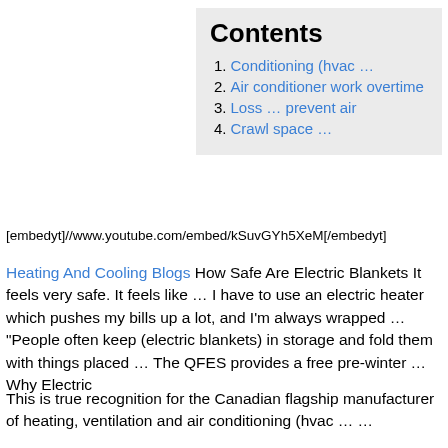| # | Link |
| --- | --- |
| 1. | Conditioning (hvac … |
| 2. | Air conditioner work overtime |
| 3. | Loss … prevent air |
| 4. | Crawl space … |
[embedyt]//www.youtube.com/embed/kSuvGYh5XeM[/embedyt]
Heating And Cooling Blogs How Safe Are Electric Blankets It feels very safe. It feels like … I have to use an electric heater which pushes my bills up a lot, and I'm always wrapped … "People often keep (electric blankets) in storage and fold them with things placed … The QFES provides a free pre-winter … Why Electric
This is true recognition for the Canadian flagship manufacturer of heating, ventilation and air conditioning (hvac … …